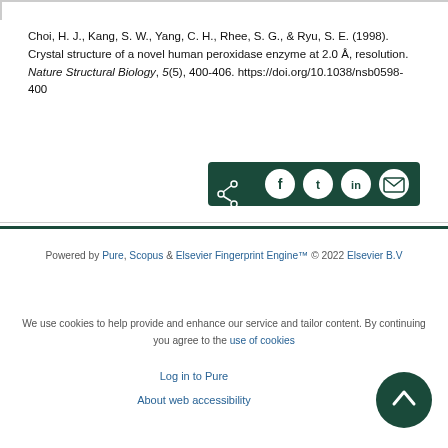Choi, H. J., Kang, S. W., Yang, C. H., Rhee, S. G., & Ryu, S. E. (1998). Crystal structure of a novel human peroxidase enzyme at 2.0 Å, resolution. Nature Structural Biology, 5(5), 400-406. https://doi.org/10.1038/nsb0598-400
[Figure (other): Social share bar with icons for share, Facebook, Twitter, LinkedIn, and email on a dark green background]
Powered by Pure, Scopus & Elsevier Fingerprint Engine™ © 2022 Elsevier B.V
We use cookies to help provide and enhance our service and tailor content. By continuing you agree to the use of cookies
Log in to Pure
About web accessibility